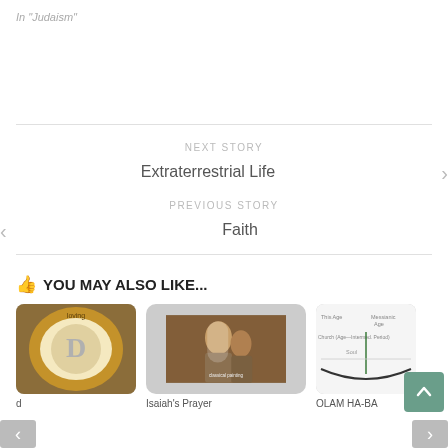In "Judaism"
NEXT STORY
Extraterrestrial Life
PREVIOUS STORY
Faith
👍 YOU MAY ALSO LIKE...
[Figure (illustration): Circular decorative image with letter D and colorful design]
[Figure (photo): Classical painting of Isaiah's Prayer - robed figures]
[Figure (illustration): OLAM HA-BA diagram with timeline]
d
Isaiah's Prayer
OLAM HA-BA